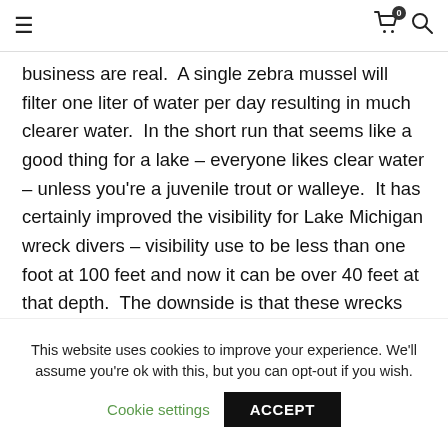≡  🛒 0  🔍
business are real.  A single zebra mussel will filter one liter of water per day resulting in much clearer water.  In the short run that seems like a good thing for a lake – everyone likes clear water – unless you're a juvenile trout or walleye.  It has certainly improved the visibility for Lake Michigan wreck divers – visibility use to be less than one foot at 100 feet and now it can be over 40 feet at that depth.  The downside is that these wrecks that have been preserved for a hundred years or more are now covered with mussels.
This website uses cookies to improve your experience. We'll assume you're ok with this, but you can opt-out if you wish. Cookie settings  ACCEPT